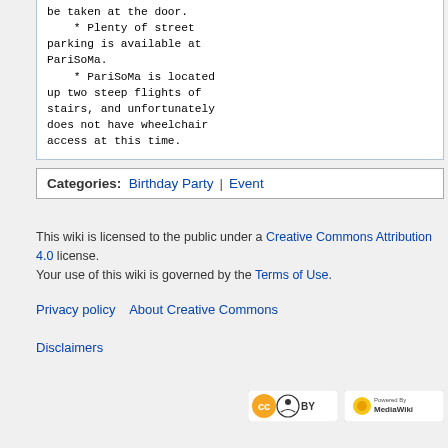be taken at the door.
    * Plenty of street parking is available at PariSoMa.
    * PariSoMa is located up two steep flights of stairs, and unfortunately does not have wheelchair access at this time.
Categories:  Birthday Party | Event
This wiki is licensed to the public under a Creative Commons Attribution 4.0 license.
Your use of this wiki is governed by the Terms of Use.
Privacy policy   About Creative Commons
Disclaimers
[Figure (logo): Creative Commons BY license badge]
[Figure (logo): Powered by MediaWiki badge]